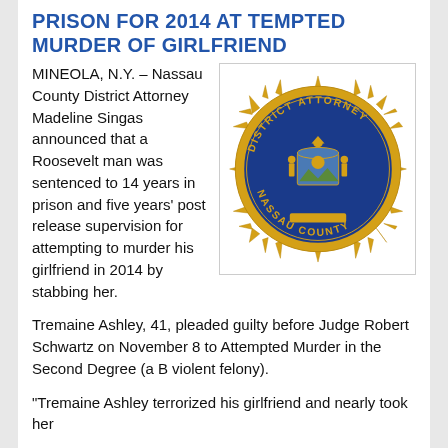PRISON FOR 2014 ATTEMPTED MURDER OF GIRLFRIEND
MINEOLA, N.Y. – Nassau County District Attorney Madeline Singas announced that a Roosevelt man was sentenced to 14 years in prison and five years' post release supervision for attempting to murder his girlfriend in 2014 by stabbing her.
[Figure (photo): Nassau County District Attorney badge/seal — gold star-shaped badge with blue center, reading DISTRICT ATTORNEY NASSAU COUNTY]
Tremaine Ashley, 41, pleaded guilty before Judge Robert Schwartz on November 8 to Attempted Murder in the Second Degree (a B violent felony).
“Tremaine Ashley terrorized his girlfriend and nearly took her